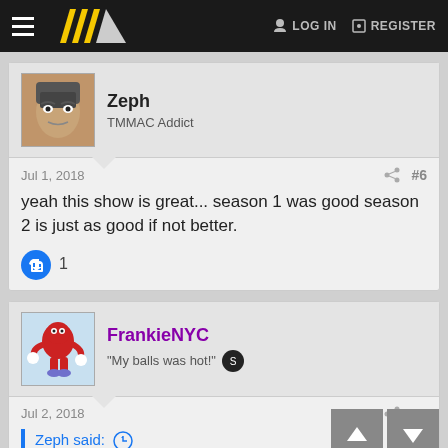TMMAC Forum — LOG IN  REGISTER
Zeph
TMMAC Addict
Jul 1, 2018  #6
yeah this show is great... season 1 was good season 2 is just as good if not better.
1 like
FrankieNYC
"My balls was hot!"
Jul 2, 2018  #7
Zeph said: